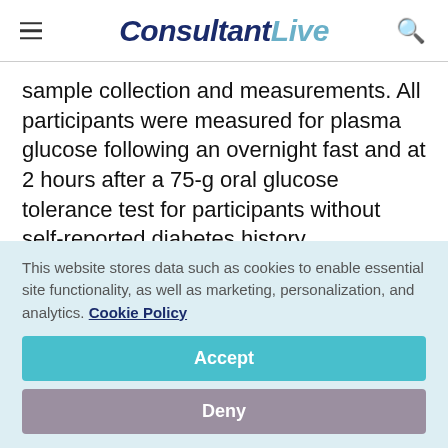ConsultantLive
sample collection and measurements. All participants were measured for plasma glucose following an overnight fast and at 2 hours after a 75-g oral glucose tolerance test for participants without self-reported diabetes history. Additionally, hemoglobin A1c (HbA1c) was measured using venous blood samples
This website stores data such as cookies to enable essential site functionality, as well as marketing, personalization, and analytics. Cookie Policy
Accept
Deny